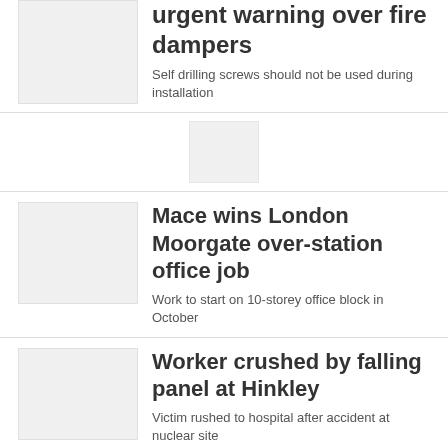urgent warning over fire dampers
Self drilling screws should not be used during installation
[Figure (photo): Small thumbnail image placeholder]
Mace wins London Moorgate over-station office job
Work to start on 10-storey office block in October
Worker crushed by falling panel at Hinkley
Victim rushed to hospital after accident at nuclear site
HG Construction secures